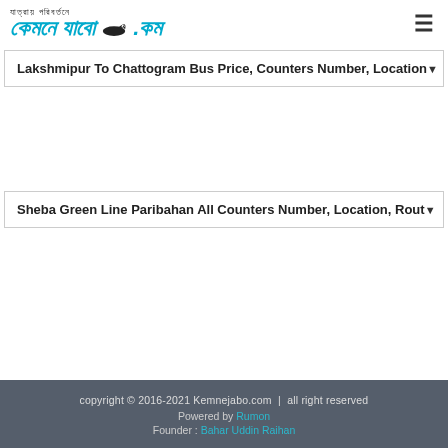যাত্রায় পরিবর্তন কেমনে যাবো.কম
Lakshmipur To Chattogram Bus Price, Counters Number, Location
Sheba Green Line Paribahan All Counters Number, Location, Route
copyright © 2016-2021 Kemnejabo.com | all right reserved
Powered by Rumon
Founder : Bahar Uddin Raihan